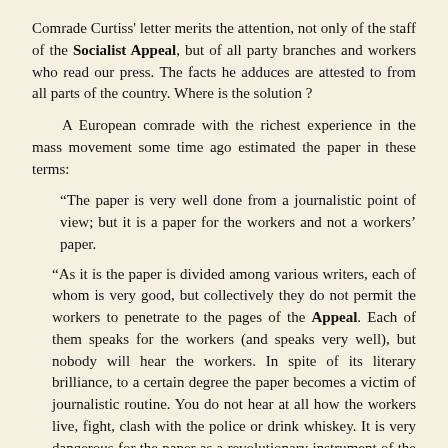Comrade Curtiss' letter merits the attention, not only of the staff of the Socialist Appeal, but of all party branches and workers who read our press. The facts he adduces are attested to from all parts of the country. Where is the solution?
A European comrade with the richest experience in the mass movement some time ago estimated the paper in these terms:
“The paper is very well done from a journalistic point of view; but it is a paper for the workers and not a workers’ paper.
“As it is the paper is divided among various writers, each of whom is very good, but collectively they do not permit the workers to penetrate to the pages of the Appeal. Each of them speaks for the workers (and speaks very well), but nobody will hear the workers. In spite of its literary brilliance, to a certain degree the paper becomes a victim of journalistic routine. You do not hear at all how the workers live, fight, clash with the police or drink whiskey. It is very dangerous for the paper as a revolutionary instrument of the party. The task is not to make a paper through the joint forces of a skilled editorial board, but to encourage the workers to